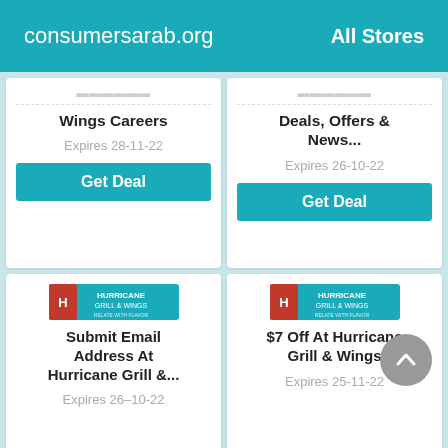consumersarab.org    All Stores
Hurricane Grill and Wings Careers
Expires 28-11-22
Get Deal
Join The Club & Get Deals, Offers & News...
Expires 26-10-22
Get Deal
[Figure (logo): Hurricane Grill & Wings logo]
Submit Email Address At Hurricane Grill &...
Expires 26-10-22
Get Deal
[Figure (logo): Hurricane Grill & Wings logo]
$7 Off At Hurricane Grill & Wings
Expires 25-11-22
Get Deal